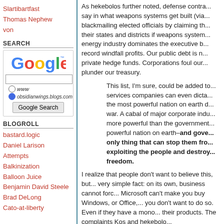Slartibartfast
Thomas Nephew
von
SEARCH
[Figure (screenshot): Google search widget with logo, text input, radio buttons for www and obsidianwings.blogs.com, and Google Search button]
BLOGROLL
bastard.logic
Daniel Larison
Attempts
Balkinization
Balloon Juice
Benjamin David Steele
Brad DeLong
Cato-at-liberty
As hekebolos further noted, defense contra... say in what weapons systems get built (via... blackmailing elected officials by claiming th... their states and districts if weapons system... energy industry dominates the executive b... record windfall profits. Our public debt is n... private hedge funds. Corporations foul our... plunder our treasury.
This list, I'm sure, could be added to... services companies can even dicta... the most powerful nation on earth d... war. A cabal of major corporate indu... more powerful than the government... powerful nation on earth–and gove... only thing that can stop them fro... exploiting the people and destroy... freedom.
I realize that people don't want to believe this, but... very simple fact: on its own, business cannot forc... Microsoft can't make you buy Windows, or Office,... you don't want to do so. Even if they have a mono... their products. The complaints Kos and hekebolo...